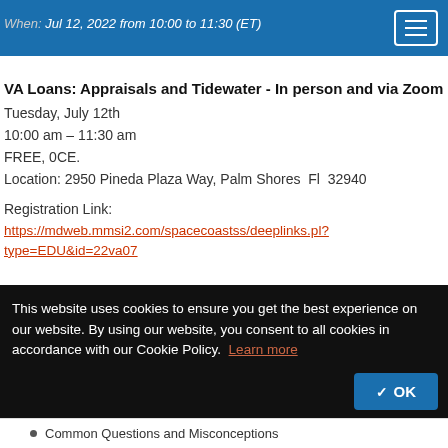When: Jul 12, 2022 from 10:00 to 11:30 (ET)
VA Loans: Appraisals and Tidewater - In person and via Zoom
Tuesday, July 12th
10:00 am – 11:30 am
FREE, 0CE.
Location: 2950 Pineda Plaza Way, Palm Shores  Fl  32940
Registration Link:
https://mdweb.mmsi2.com/spacecoastss/deeplinks.pl?type=EDU&id=22va07
This website uses cookies to ensure you get the best experience on our website. By using our website, you consent to all cookies in accordance with our Cookie Policy. Learn more
Common Questions and Misconceptions